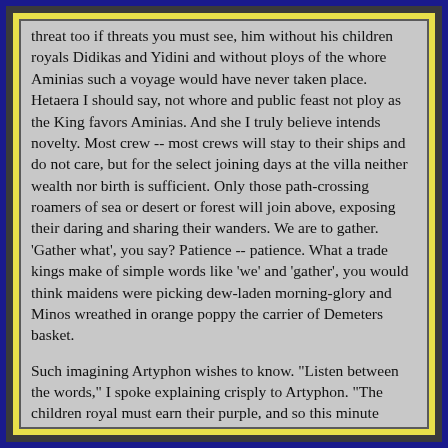threat too if threats you must see, him without his children royals Didikas and Yidini and without ploys of the whore Aminias such a voyage would have never taken place. Hetaera I should say, not whore and public feast not ploy as the King favors Aminias. And she I truly believe intends novelty. Most crew -- most crews will stay to their ships and do not care, but for the select joining days at the villa neither wealth nor birth is sufficient. Only those path-crossing roamers of sea or desert or forest will join above, exposing their daring and sharing their wanders. We are to gather. 'Gather what', you say? Patience -- patience. What a trade kings make of simple words like 'we' and 'gather', you would think maidens were picking dew-laden morning-glory and Minos wreathed in orange poppy the carrier of Demeters basket.
Such imagining Artyphon wishes to know. "Listen between the words," I spoke explaining crisply to Artyphon. "The children royal must earn their purple, and so this minute discover blood-truth in a snake-infested Pelops swamp." Artyphon nods...